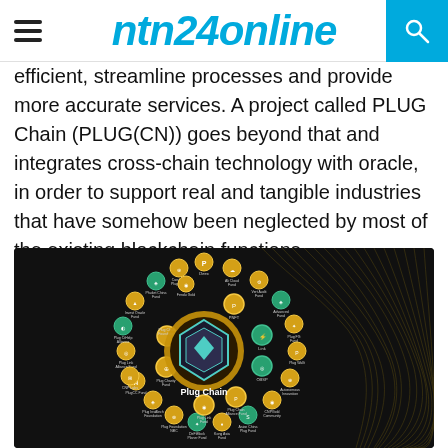ntn24online
efficient, streamline processes and provide more accurate services. A project called PLUG Chain (PLUG(CN)) goes beyond that and integrates cross-chain technology with oracle, in order to support real and tangible industries that have somehow been neglected by most of the existing blockchain functions.
[Figure (infographic): Plug Chain ecosystem diagram showing a dark background with a central hexagonal 'Plug Chain' logo surrounded by a circular arrangement of gold and green circular icons representing various funds, platforms, and community nodes in the PLUG Chain ecosystem.]